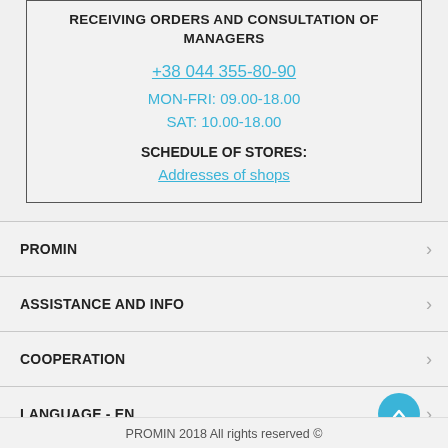RECEIVING ORDERS AND CONSULTATION OF MANAGERS
+38 044 355-80-90
MON-FRI: 09.00-18.00
SAT: 10.00-18.00
SCHEDULE OF STORES:
Addresses of shops
PROMIN
ASSISTANCE AND INFO
COOPERATION
LANGUAGE - EN
PROMIN 2018 All rights reserved ©